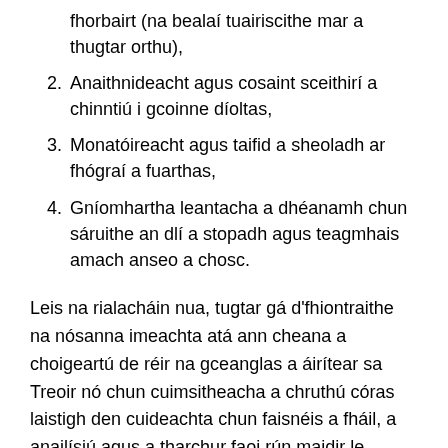fhorbairt (na bealaí tuairiscithe mar a thugtar orthu),
2. Anaithnideacht agus cosaint sceithirí a chinntiú i gcoinne díoltas,
3. Monatóireacht agus taifid a sheoladh ar fhógraí a fuarthas,
4. Gníomhartha leantacha a dhéanamh chun sáruithe an dlí a stopadh agus teagmhais amach anseo a chosc.
Leis na rialacháin nua, tugtar gá d'fhiontraithe na nósanna imeachta atá ann cheana a choigeartú de réir na gceanglas a áirítear sa Treoir nó chun cuimsitheacha a chruthú córas laistigh den cuideachta chun faisnéis a fháil, a anailísiú agus a tharchur faoi rún maidir le sáruithe ar an dlí. Féadfaidh oibriú na gcóras atá ag feidhmiú i gceart a